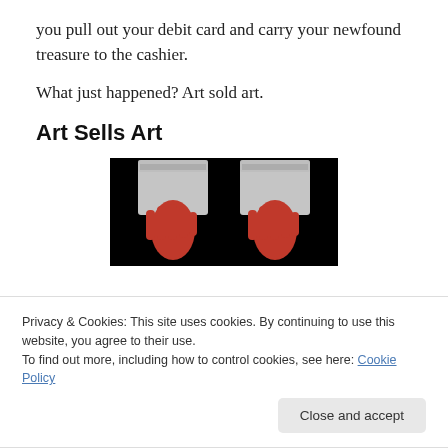you pull out your debit card and carry your newfound treasure to the cashier.
What just happened? Art sold art.
Art Sells Art
[Figure (photo): Two red hands with white bandages/cloths wrapped around the wrists, shown against a black background.]
Privacy & Cookies: This site uses cookies. By continuing to use this website, you agree to their use.
To find out more, including how to control cookies, see here: Cookie Policy